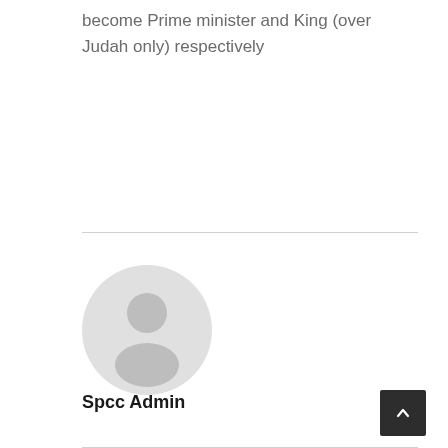become Prime minister and King (over Judah only) respectively
[Figure (illustration): Default user avatar placeholder: a grey circle with a white silhouette of a person (head and shoulders) centered inside it]
Spcc Admin